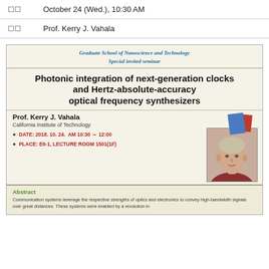일시   October 24 (Wed.), 10:30 AM
연사   Prof. Kerry J. Vahala
[Figure (other): Seminar flyer for Graduate School of Nanoscience and Technology Special invited seminar. Title: Photonic integration of next-generation clocks and Hertz-absolute-accuracy optical frequency synthesizers. Speaker: Prof. Kerry J. Vahala, California Institute of Technology. DATE: 2018. 10. 24. AM 10:30 ~ 12:00. PLACE: E6-1, LECTURE ROOM 1501(1F). Abstract: Communication systems leverage the respective strengths of optics and electronics to convey high-bandwidth signals over great distances. These systems were enabled by a revolution in...]